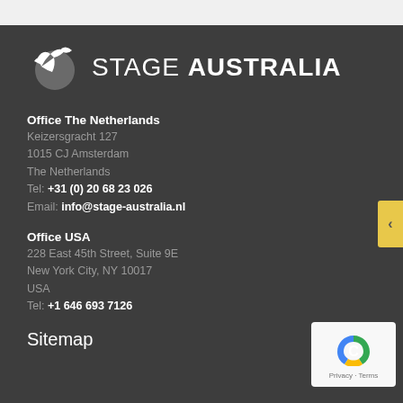[Figure (logo): Stage Australia logo with bird/globe icon and text STAGE AUSTRALIA]
Office The Netherlands
Keizersgracht 127
1015 CJ Amsterdam
The Netherlands
Tel: +31 (0) 20 68 23 026
Email: info@stage-australia.nl
Office USA
228 East 45th Street, Suite 9E
New York City, NY 10017
USA
Tel: +1 646 693 7126
Sitemap